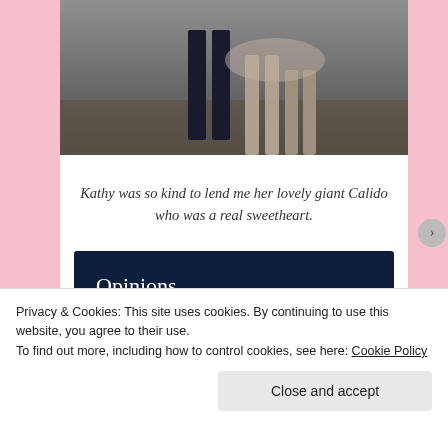[Figure (photo): Partial photo showing the legs of a person and a horse walking on a dirt surface, cropped at the top of the page]
Kathy was so kind to lend me her lovely giant Calido who was a real sweetheart.
[Figure (infographic): Dark navy advertisement banner with text 'Opinions. We all have them!' and a pink 'Start a survey' button, plus CrowdSignal logo circle]
Privacy & Cookies: This site uses cookies. By continuing to use this website, you agree to their use.
To find out more, including how to control cookies, see here: Cookie Policy
Close and accept